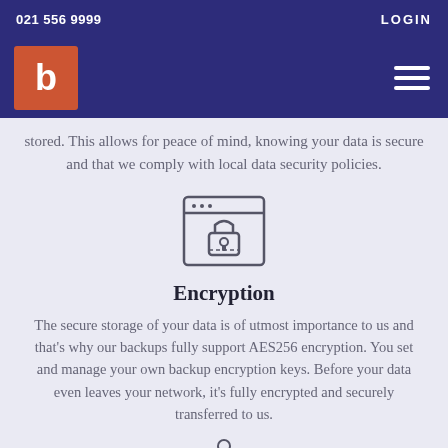021 556 9999   LOGIN
[Figure (logo): Company logo: orange square with white 'b' letter, on dark navy navigation bar with hamburger menu icon]
stored. This allows for peace of mind, knowing your data is secure and that we comply with local data security policies.
[Figure (illustration): Icon of a browser window with a padlock/lock symbol inside, outlined in dark gray]
Encryption
The secure storage of your data is of utmost importance to us and that's why our backups fully support AES256 encryption. You set and manage your own backup encryption keys. Before your data even leaves your network, it's fully encrypted and securely transferred to us.
[Figure (illustration): Partial icon at bottom of page, cut off]